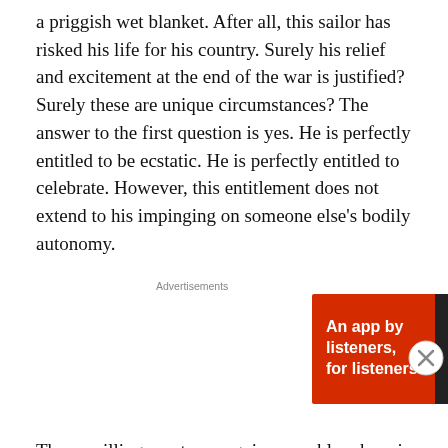a priggish wet blanket. After all, this sailor has risked his life for his country. Surely his relief and excitement at the end of the war is justified? Surely these are unique circumstances? The answer to the first question is yes. He is perfectly entitled to be ecstatic. He is perfectly entitled to celebrate. However, this entitlement does not extend to his impinging on someone else's bodily autonomy.
[Figure (other): Pocket Casts advertisement banner: red background with text 'An app by listeners, for listeners.' and Pocket Casts logo with headphone icon on right side. Shows a phone image in center.]
The unwillingness to recognize a problem here is not surprising, considering the rape culture in which we live. It is...
[Figure (other): Jetpack advertisement banner: green background with Jetpack logo (lightning bolt icon) on left and 'Back up your site' button on right.]